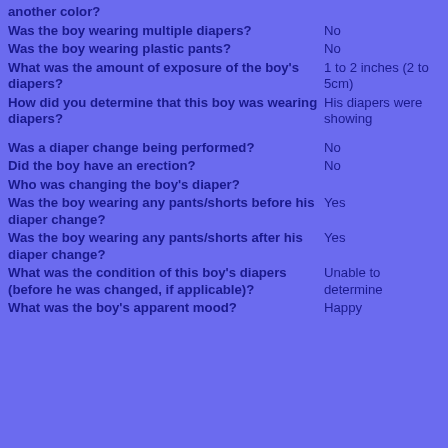another color?
Was the boy wearing multiple diapers? | No
Was the boy wearing plastic pants? | No
What was the amount of exposure of the boy's diapers? | 1 to 2 inches (2 to 5cm)
How did you determine that this boy was wearing diapers? | His diapers were showing
Was a diaper change being performed? | No
Did the boy have an erection? | No
Who was changing the boy's diaper?
Was the boy wearing any pants/shorts before his diaper change? | Yes
Was the boy wearing any pants/shorts after his diaper change? | Yes
What was the condition of this boy's diapers (before he was changed, if applicable)? | Unable to determine
What was the boy's apparent mood? | Happy